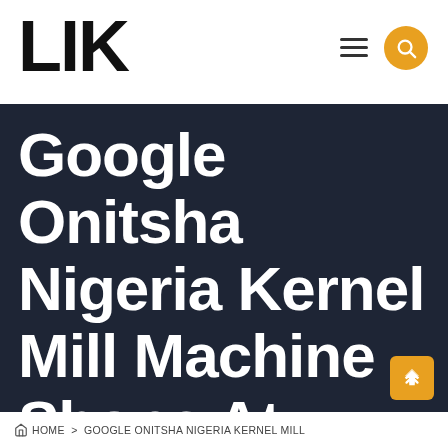LIK
Google Onitsha Nigeria Kernel Mill Machine Shops At
HOME > GOOGLE ONITSHA NIGERIA KERNEL MILL